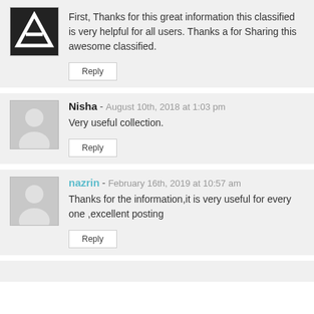First, Thanks for this great information this classified is very helpful for all users. Thanks a for Sharing this awesome classified.
Reply
Nisha - August 10th, 2018 at 1:03 pm
Very useful collection.
Reply
nazrin - February 16th, 2019 at 10:57 am
Thanks for the information,it is very useful for every one ,excellent posting
Reply